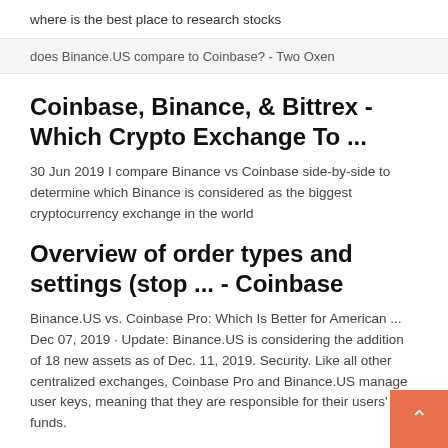where is the best place to research stocks
does Binance.US compare to Coinbase? - Two Oxen
Coinbase, Binance, & Bittrex - Which Crypto Exchange To ...
30 Jun 2019 I compare Binance vs Coinbase side-by-side to determine which Binance is considered as the biggest cryptocurrency exchange in the world
Overview of order types and settings (stop ... - Coinbase
Binance.US vs. Coinbase Pro: Which Is Better for American ... Dec 07, 2019 · Update: Binance.US is considering the addition of 18 new assets as of Dec. 11, 2019. Security. Like all other centralized exchanges, Coinbase Pro and Binance.US manage user keys, meaning that they are responsible for their users' funds.